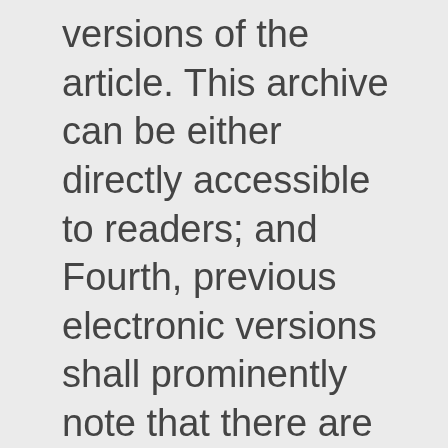versions of the article. This archive can be either directly accessible to readers; and Fourth, previous electronic versions shall prominently note that there are more recent versions of the article via CrossMark